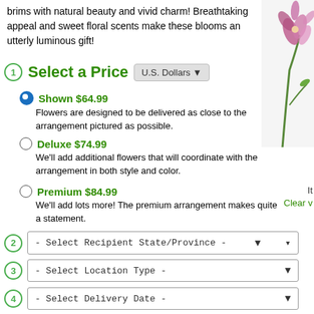brims with natural beauty and vivid charm! Breathtaking appeal and sweet floral scents make these blooms an utterly luminous gift!
[Figure (photo): Partial view of floral arrangement with pink/purple flowers on right side]
1 Select a Price  U.S. Dollars
Shown $64.99 — Flowers are designed to be delivered as close to the arrangement pictured as possible.
Deluxe $74.99 — We'll add additional flowers that will coordinate with the arrangement in both style and color.
Premium $84.99 — We'll add lots more! The premium arrangement makes quite a statement.
2 - Select Recipient State/Province -
3 - Select Location Type -
4 - Select Delivery Date -
It
Clear v